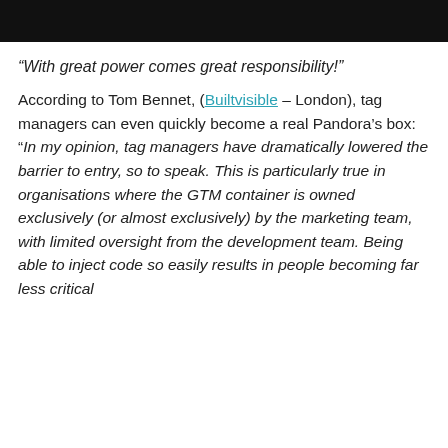[Figure (other): Dark/black header bar at the top of the page]
“With great power comes great responsibility!”
According to Tom Bennet, (Builtvisible – London), tag managers can even quickly become a real Pandora’s box: “In my opinion, tag managers have dramatically lowered the barrier to entry, so to speak. This is particularly true in organisations where the GTM container is owned exclusively (or almost exclusively) by the marketing team, with limited oversight from the development team. Being able to inject code so easily results in people becoming far less critical